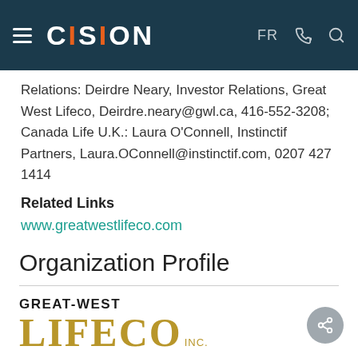CISION — FR
Relations: Deirdre Neary, Investor Relations, Great West Lifeco, Deirdre.neary@gwl.ca, 416-552-3208; Canada Life U.K.: Laura O'Connell, Instinctif Partners, Laura.OConnell@instinctif.com, 0207 427 1414
Related Links
www.greatwestlifeco.com
Organization Profile
[Figure (logo): Great-West Lifeco Inc. logo — 'GREAT-WEST' in bold dark text above 'LIFECO' in large gold serif font with 'INC.' in smaller gold text]